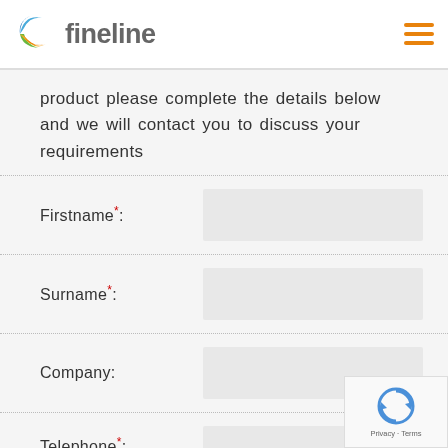fineline
product please complete the details below and we will contact you to discuss your requirements
Firstname*:
Surname*:
Company:
Telephone*:
[Figure (logo): reCAPTCHA Privacy - Terms badge]